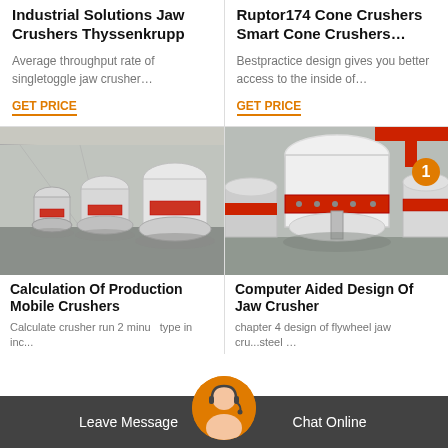Industrial Solutions Jaw Crushers Thyssenkrupp
Average throughput rate of singletoggle jaw crusher…
GET PRICE
Ruptor174 Cone Crushers Smart Cone Crushers…
Bestpractice design gives you better access to the inside of…
GET PRICE
[Figure (photo): Industrial cone crushers lined up in a factory warehouse]
Calculation Of Production Mobile Crushers
Calculate crusher run 2 minutes type in inches and feet of your project and calculate the estimated amount of Base material in cubic yards cubic feet and Tons that your need for your project The Density of Crusher Run 2410 lb yd or 121 t yd or 08 yd t
[Figure (photo): Close-up of a large industrial cone crusher in a facility]
Computer Aided Design Of Jaw Crusher
chapter 4 design of flywheel for jaw crusher 41 flywheel 32 42 role of flywheel in a jaw crusher 32 43 stresses in a flywheel 34 44 design calculations 38 45 design of spring for toggle plate 40 46 final results 41 chapter 5 computer aided design and analysis 43
Leave Message
Chat Online